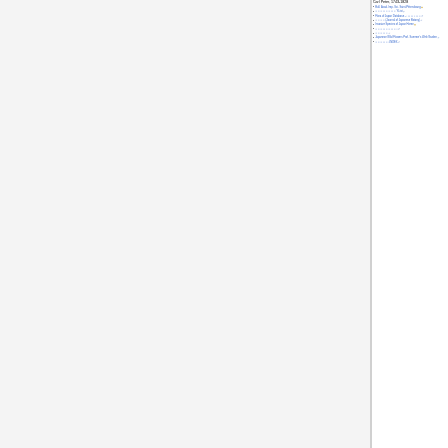Carl Peter, 1743-1828
Bull. Acad. Imp. Sci. Saint-Pétersbourg 🔒
□□□□□□□□□□□□□ YList 🔗
Flora of Japan Database - □□□□□□□□□ 🔗
□□□□□□ (Journal of Japanese Botany) 🔗
Invasive Species of Japan Home 🔒
□□□□□□□□□□□□□□ 🔗
□□□□□□□□ 🔗
Japanese Wild Flowers Prof. Summer's Web Garden 🔗
□□□□□□□□□INDEX 🔗